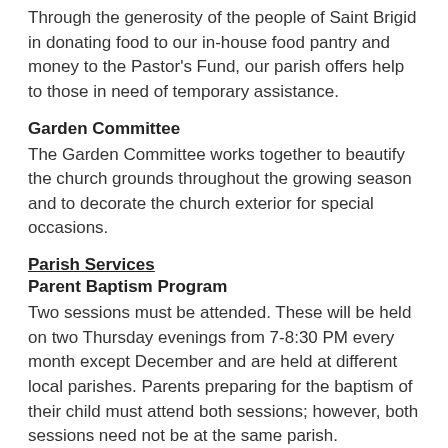Through the generosity of the people of Saint Brigid in donating food to our in-house food pantry and money to the Pastor’s Fund, our parish offers help to those in need of temporary assistance.
Garden Committee
The Garden Committee works together to beautify the church grounds throughout the growing season and to decorate the church exterior for special occasions.
Parish Services
Parent Baptism Program
Two sessions must be attended. These will be held on two Thursday evenings from 7-8:30 PM every month except December and are held at different local parishes. Parents preparing for the baptism of their child must attend both sessions; however, both sessions need not be at the same parish. Godparents are welcome and encouraged to participate. Expectant parents may wish to come prior to the